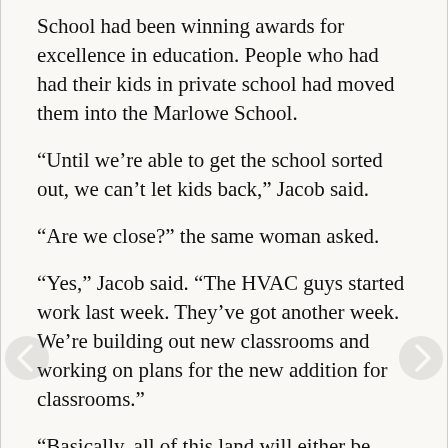School had been winning awards for excellence in education. People who had had their kids in private school had moved them into the Marlowe School.
“Until we’re able to get the school sorted out, we can’t let kids back,” Jacob said.
“Are we close?” the same woman asked.
“Yes,” Jacob said. “The HVAC guys started work last week. They’ve got another week. We’re building out new classrooms and working on plans for the new addition for classrooms.”
“Basically, all of this land will either be school or gardens,” Valerie said.
Everyone nodded